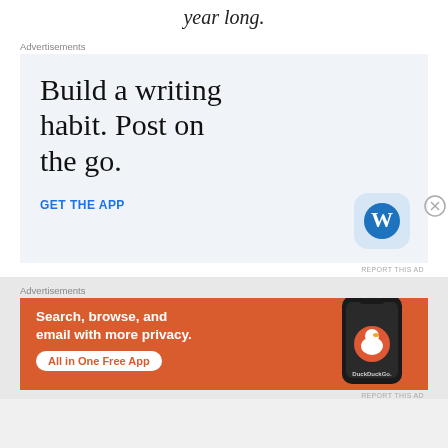year long.
Advertisements
[Figure (illustration): WordPress app advertisement with text 'Build a writing habit. Post on the go.' and a 'GET THE APP' call-to-action link, with the WordPress 'W' logo icon on the right.]
Advertisements
[Figure (illustration): DuckDuckGo advertisement with orange background, text 'Search, browse, and email with more privacy.' and 'All in One Free App' button, with a phone showing the DuckDuckGo app on the right.]